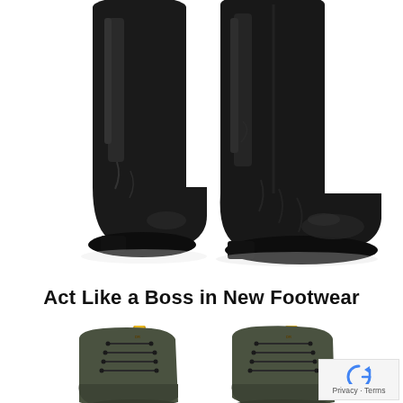[Figure (photo): Two tall black leather boots photographed against a white background, showing the lower leg and foot portions with slight sheen and folds in the leather.]
Act Like a Boss in New Footwear
[Figure (photo): Two olive green lace-up ankle boots with yellow pull tabs at the back, partially visible at the bottom of the image against a white background.]